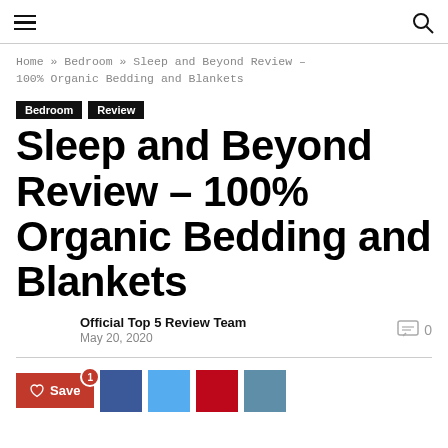Navigation header with hamburger menu and search icon
Home » Bedroom » Sleep and Beyond Review – 100% Organic Bedding and Blankets
Bedroom  Review
Sleep and Beyond Review – 100% Organic Bedding and Blankets
Official Top 5 Review Team
May 20, 2020
0
Save  (social share buttons: Facebook, Twitter, Pinterest, LinkedIn)